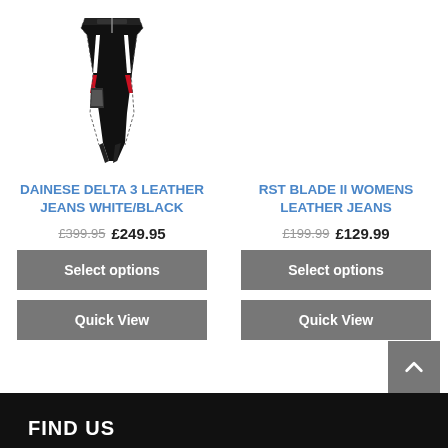[Figure (photo): Black and white leather motorcycle pants/jeans with red accents - Dainese Delta 3]
DAINESE DELTA 3 LEATHER JEANS WHITE/BLACK
£399.95 £249.95
Select options
Quick View
RST BLADE II WOMENS LEATHER JEANS
£199.99 £129.99
Select options
Quick View
FIND US